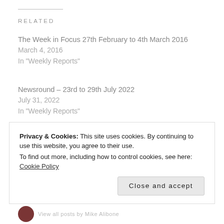RELATED
The Week in Focus 27th February to 4th March 2016
March 4, 2016
In "Weekly Reports"
Newsround – 23rd to 29th July 2022
July 31, 2022
In "Weekly Reports"
Newsround – 6th to 12th August 2022
August 14, 2022
With 2 comments
Privacy & Cookies: This site uses cookies. By continuing to use this website, you agree to their use.
To find out more, including how to control cookies, see here: Cookie Policy
View all posts by Mike Alibone